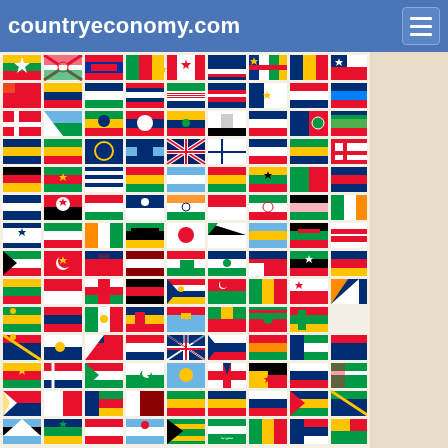countryeconomy.com
[Figure (illustration): Grid of country flags from around the world, approximately 9 columns wide and 11+ rows tall, on a cream/beige background. Flags represent countries alphabetically from Myanmar/Burma through Saint Kitts and beyond.]